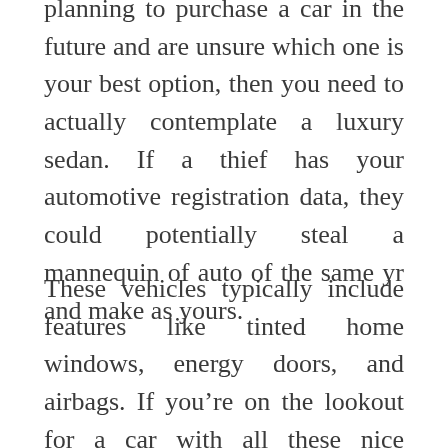planning to purchase a car in the future and are unsure which one is your best option, then you need to actually contemplate a luxury sedan. If a thief has your automotive registration data, they could potentially steal a mannequin of auto of the same yr and make as yours.
These vehicles typically include features like tinted home windows, energy doors, and airbags. If you’re on the lookout for a car with all these nice options then you need to consider shopping for a luxury automobile. These vehicles could be great for taking the household on nice